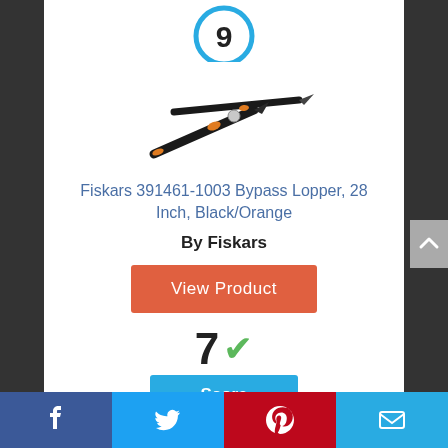[Figure (other): Score circle badge showing number 9 in a teal/blue circular ring]
[Figure (photo): Fiskars bypass lopper tool - black handled scissors/lopper device on white background]
Fiskars 391461-1003 Bypass Lopper, 28 Inch, Black/Orange
By Fiskars
View Product
[Figure (infographic): Score display showing '7' with green checkmark and blue 'Score' button below]